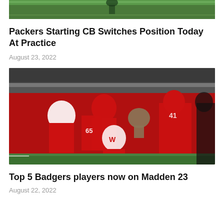[Figure (photo): Top portion of a sports photo showing a football field with green turf, partially cropped]
Packers Starting CB Switches Position Today At Practice
August 23, 2022
[Figure (photo): Wisconsin Badgers football players in red uniforms celebrating with a trophy on the field, with a packed stadium crowd in the background]
Top 5 Badgers players now on Madden 23
August 22, 2022